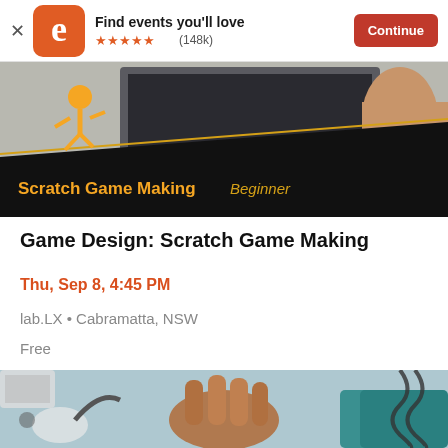Find events you'll love ★★★★★ (148k) Continue
[Figure (screenshot): Scratch Game Making Beginner event banner showing a laptop, a running character sprite on black background with gold text]
Game Design: Scratch Game Making
Thu, Sep 8, 4:45 PM
lab.LX • Cabramatta, NSW
Free
[Figure (photo): Photo showing hands with a stethoscope on a light blue background]